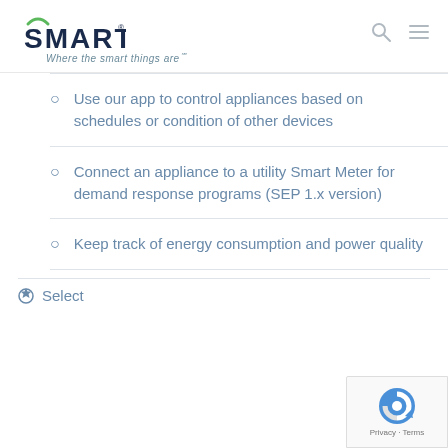SMARTENIT — Where the smart things are℠
Use our app to control appliances based on schedules or condition of other devices
Connect an appliance to a utility Smart Meter for demand response programs (SEP 1.x version)
Keep track of energy consumption and power quality
Select